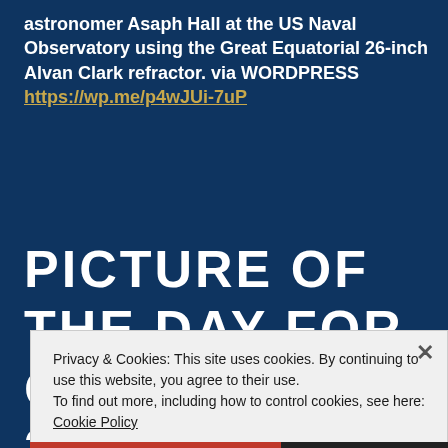astronomer Asaph Hall at the US Naval Observatory using the Great Equatorial 26-inch Alvan Clark refractor. via WORDPRESS https://wp.me/p4wJUi-7uP
PICTURE OF THE DAY FOR OCTOBER 30, 2020
Privacy & Cookies: This site uses cookies. By continuing to use this website, you agree to their use.
To find out more, including how to control cookies, see here: Cookie Policy
Close and accept